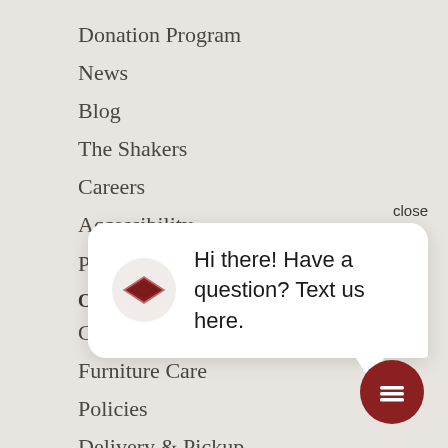Donation Program
News
Blog
The Shakers
Careers
Accessibility
Privacy Policy
CUSTOMER SUPPORT
Contact Us
Furniture Care
Policies
Delivery & Pickup
FAQ's
Financing
close
Hi there! Have a question? Text us here.